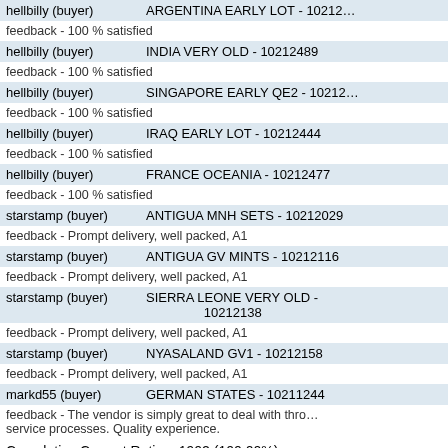hellbilly (buyer)   ARGENTINA EARLY LOT - 10212…
feedback - 100 % satisfied
hellbilly (buyer)   INDIA VERY OLD - 10212489
feedback - 100 % satisfied
hellbilly (buyer)   SINGAPORE EARLY QE2 - 10212…
feedback - 100 % satisfied
hellbilly (buyer)   IRAQ EARLY LOT - 10212444
feedback - 100 % satisfied
hellbilly (buyer)   FRANCE OCEANIA - 10212477
feedback - 100 % satisfied
starstamp (buyer)   ANTIGUA MNH SETS - 10212029
feedback - Prompt delivery, well packed, A1
starstamp (buyer)   ANTIGUA GV MINTS - 10212116
feedback - Prompt delivery, well packed, A1
starstamp (buyer)   SIERRA LEONE VERY OLD - 10212138
feedback - Prompt delivery, well packed, A1
starstamp (buyer)   NYASALAND GV1 - 10212158
feedback - Prompt delivery, well packed, A1
markd55 (buyer)   GERMAN STATES - 10211244
feedback - The vendor is simply great to deal with thro… service processes. Quality experience.
Cumulative Current Rating: 1902 (100.00%)
More Results: 1 ... 11 ... 21 22 23 24 25 26 27
home | about us | terms & conditions | help
©Copyright 2022 www.kmphilately.com All Rights Reserved
[Figure (logo): PayPal and credit card logos (Visa, Mastercard, and others)]